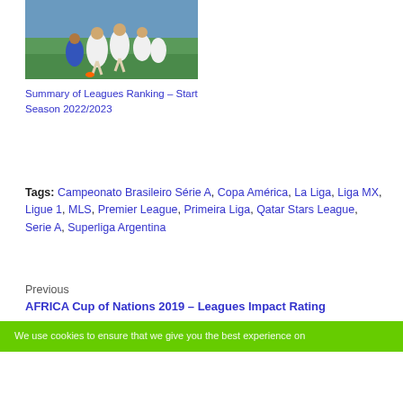[Figure (photo): Soccer/football players in action on a field, players in white uniforms competing]
Summary of Leagues Ranking – Start Season 2022/2023
Tags: Campeonato Brasileiro Série A, Copa América, La Liga, Liga MX, Ligue 1, MLS, Premier League, Primeira Liga, Qatar Stars League, Serie A, Superliga Argentina
Previous
AFRICA Cup of Nations 2019 – Leagues Impact Rating
We use cookies to ensure that we give you the best experience on